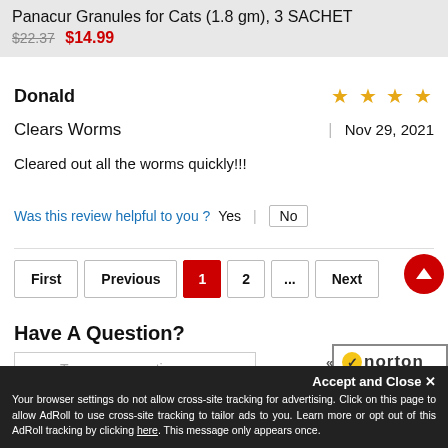Panacur Granules for Cats (1.8 gm), 3 SACHET $22.37 $14.99
Donald
Clears Worms | Nov 29, 2021
Cleared out all the worms quickly!!!
Was this review helpful to you ? Yes | No
First Previous 1 2 ... Next Last
Have A Question?
Type your question or keyword
[Figure (other): Norton Shopping Guarantee badge with verifying... status]
Accept and Close ✕ Your browser settings do not allow cross-site tracking for advertising. Click on this page to allow AdRoll to use cross-site tracking to tailor ads to you. Learn more or opt out of this AdRoll tracking by clicking here. This message only appears once.